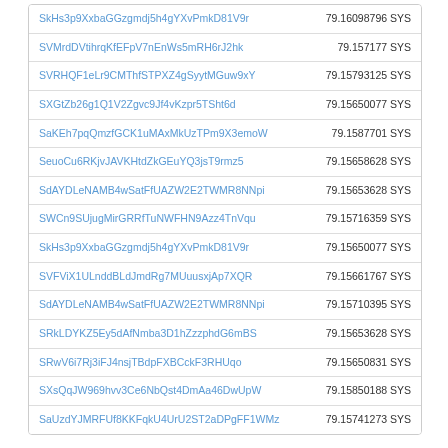| Address | Amount |
| --- | --- |
| SkHs3p9XxbaGGzgmdj5h4gYXvPmkD81V9r | 79.16098796 SYS |
| SVMrdDVtihrqKfEFpV7nEnWs5mRH6rJ2hk | 79.157177 SYS |
| SVRHQF1eLr9CMThfSTPXZ4gSyytMGuw9xY | 79.15793125 SYS |
| SXGtZb26g1Q1V2Zgvc9Jf4vKzpr5TSht6d | 79.15650077 SYS |
| SaKEh7pqQmzfGCK1uMAxMkUzTPm9X3emoW | 79.1587701 SYS |
| SeuoCu6RKjvJAVKHtdZkGEuYQ3jsT9rmz5 | 79.15658628 SYS |
| SdAYDLeNAMB4wSatFfUAZW2E2TWMR8NNpi | 79.15653628 SYS |
| SWCn9SUjugMirGRRfTuNWFHN9Azz4TnVqu | 79.15716359 SYS |
| SkHs3p9XxbaGGzgmdj5h4gYXvPmkD81V9r | 79.15650077 SYS |
| SVFViX1ULnddBLdJmdRg7MUuusxjAp7XQR | 79.15661767 SYS |
| SdAYDLeNAMB4wSatFfUAZW2E2TWMR8NNpi | 79.15710395 SYS |
| SRkLDYKZ5Ey5dAfNmba3D1hZzzphdG6mBS | 79.15653628 SYS |
| SRwV6i7Rj3iFJ4nsjTBdpFXBCckF3RHUqo | 79.15650831 SYS |
| SXsQqJW969hvv3Ce6NbQst4DmAa46DwUpW | 79.15850188 SYS |
| SaUzdYJMRFUf8KKFqkU4UrU2ST2aDPgFF1WMz | 79.15741273 SYS |